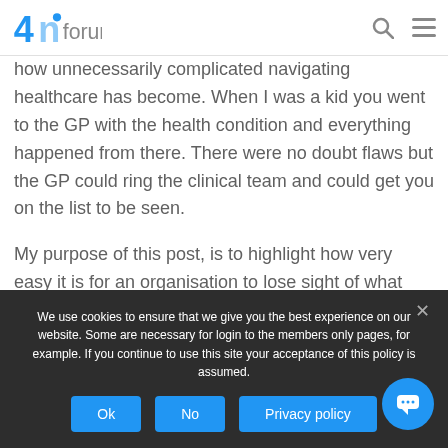4n forum
how unnecessarily complicated navigating healthcare has become.  When I was a kid you went to the GP with the health condition and everything happened from there.  There were no doubt flaws but the GP could ring the clinical team and could get you on the list to be seen.

My purpose of this post, is to highlight how very easy it is for an organisation to lose sight of what value it brings.
We use cookies to ensure that we give you the best experience on our website. Some are necessary for login to the members only pages, for example. If you continue to use this site your acceptance of this policy is assumed.